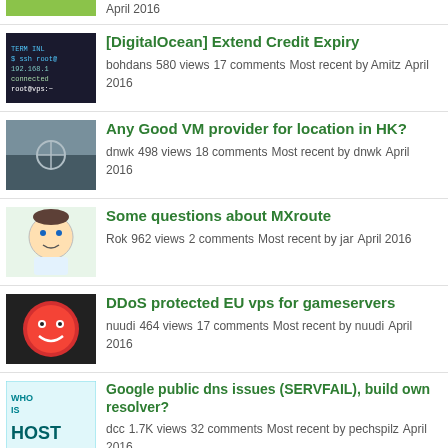April 2016 (partial item, top)
[DigitalOcean] Extend Credit Expiry — bohdans 580 views 17 comments Most recent by Amitz April 2016
Any Good VM provider for location in HK? — dnwk 498 views 18 comments Most recent by dnwk April 2016
Some questions about MXroute — Rok 962 views 2 comments Most recent by jar April 2016
DDoS protected EU vps for gameservers — nuudi 464 views 17 comments Most recent by nuudi April 2016
Google public dns issues (SERVFAIL), build own resolver? — dcc 1.7K views 32 comments Most recent by pechspilz April 2016
Offers from GestionDBI / DeepNet Solutions [Reposted Email] — YellowHummingbird 621 views 13 comments Most recent by doghouch April 2016
Im planing to move from Reseller to Dedicated but i'm (partial, bottom)